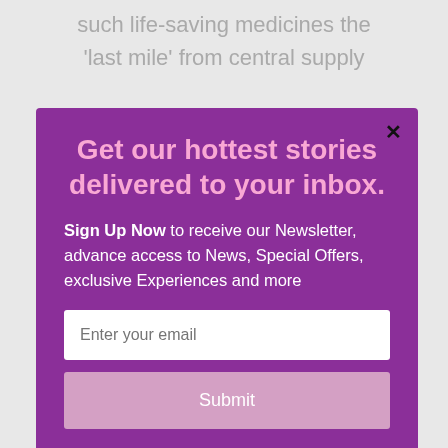such life-saving medicines the 'last mile' from central supply
[Figure (screenshot): Newsletter signup modal popup with purple background, title 'Get our hottest stories delivered to your inbox.', body text 'Sign Up Now to receive our Newsletter, advance access to News, Special Offers, exclusive Experiences and more', email input field, and Submit button. Has a close (×) button in top right corner and MailMunch branding at bottom.]
We'll assume you're ok with this, but you can opt-out if you wish.
Accept   Read More